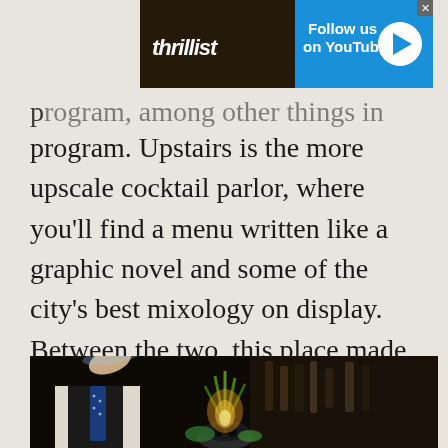[Figure (other): Thrillist advertisement banner: Follow us on YouTube with play button]
program. Upstairs is the more upscale cocktail parlor, where you'll find a menu written like a graphic novel and some of the city's best mixology on display. Between the two, this place made drinking in the FiDi a much better proposition.
[Figure (photo): Bartender in vest and blue polka-dot tie holding a flaming cocktail in a skull glass garnished with pineapple fronds and fresh mint]